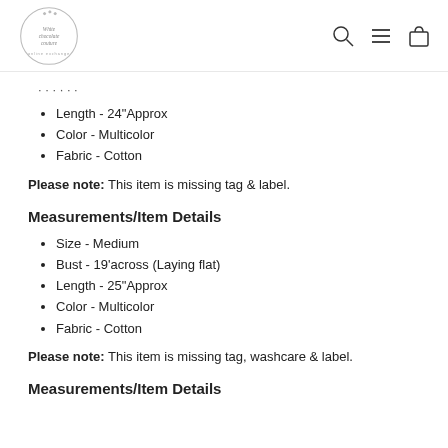White Chocolate Couture [logo]
Length - 24"Approx
Color - Multicolor
Fabric - Cotton
Please note: This item is missing tag & label.
Measurements/Item Details
Size - Medium
Bust - 19'across (Laying flat)
Length - 25"Approx
Color - Multicolor
Fabric - Cotton
Please note: This item is missing tag, washcare & label.
Measurements/Item Details